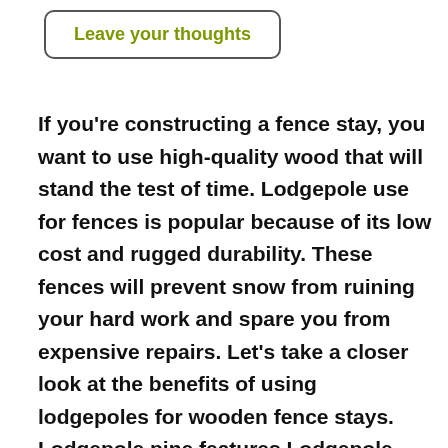Leave your thoughts
If you're constructing a fence stay, you want to use high-quality wood that will stand the test of time. Lodgepole use for fences is popular because of its low cost and rugged durability. These fences will prevent snow from ruining your hard work and spare you from expensive repairs. Let's take a closer look at the benefits of using lodgepoles for wooden fence stays. Lodgepole pine features Lodgepole pine is a moderately soft wood used in a wide range of applications. Historically it was used for everything from railroad ties to teepees. Today it's used for